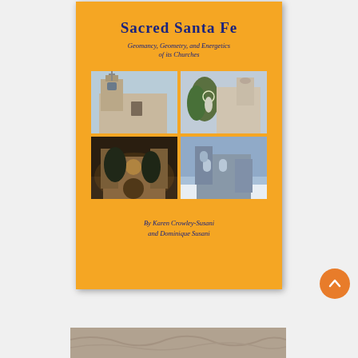[Figure (illustration): Book cover for 'Sacred Santa Fe: Geomancy, Geometry, and Energetics of its Churches' by Karen Crowley-Susani and Dominique Susani. Orange background with blue title text and a 2x2 grid of church photographs showing adobe and stone churches in Santa Fe. Below the book cover is a partially visible textured image and an orange circular scroll-up button.]